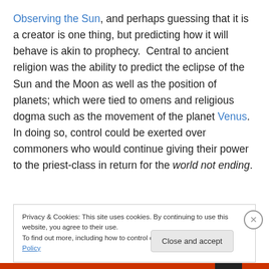Observing the Sun, and perhaps guessing that it is a creator is one thing, but predicting how it will behave is akin to prophecy.  Central to ancient religion was the ability to predict the eclipse of the Sun and the Moon as well as the position of planets; which were tied to omens and religious dogma such as the movement of the planet Venus.  In doing so, control could be exerted over commoners who would continue giving their power to the priest-class in return for the world not ending.
Privacy & Cookies: This site uses cookies. By continuing to use this website, you agree to their use. To find out more, including how to control cookies, see here: Cookie Policy